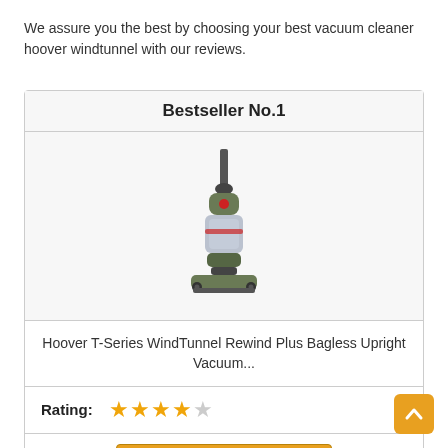We assure you the best by choosing your best vacuum cleaner hoover windtunnel with our reviews.
| Bestseller No.1 |
| [Product image: Hoover T-Series WindTunnel upright vacuum cleaner] |
| Hoover T-Series WindTunnel Rewind Plus Bagless Upright Vacuum... |
| Rating: ★★★★☆ |
| Buy on Amazon |
[Figure (photo): Hoover T-Series WindTunnel Rewind Plus Bagless Upright Vacuum cleaner product photo]